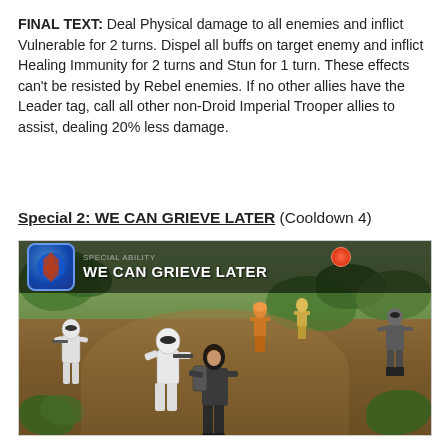FINAL TEXT: Deal Physical damage to all enemies and inflict Vulnerable for 2 turns. Dispel all buffs on target enemy and inflict Healing Immunity for 2 turns and Stun for 1 turn. These effects can't be resisted by Rebel enemies. If no other allies have the Leader tag, call all other non-Droid Imperial Trooper allies to assist, dealing 20% less damage.
Special 2: WE CAN GRIEVE LATER (Cooldown 4)
[Figure (screenshot): Screenshot from Star Wars: Galaxy of Heroes mobile game showing the 'WE CAN GRIEVE LATER' special ability activation. A dark-haired female character faces stormtroopers and other rebel enemies in a jungle/forest battle environment. The HUD displays the special ability name 'WE CAN GRIEVE LATER' with an icon in the top-left area of the screenshot.]